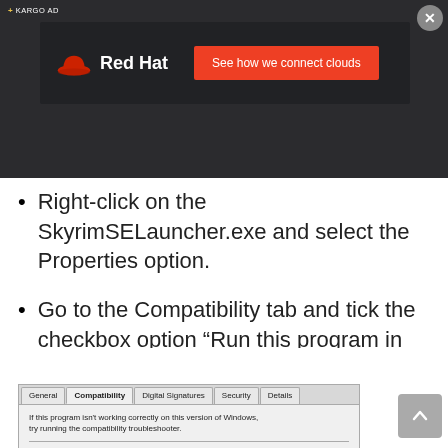[Figure (screenshot): Red Hat advertisement banner on dark background with Red Hat logo and 'See how we connect clouds' button in orange/red, with Kargo Ad label and close button]
Right-click on the SkyrimSELauncher.exe and select the Properties option.
Go to the Compatibility tab and tick the checkbox option “Run this program in compatibility mode.”
[Figure (screenshot): Windows Properties dialog showing General, Compatibility, Digital Signatures, Security, Details tabs with Compatibility tab active. Text reads: If this program isn't working correctly on this version of Windows, try running the compatibility troubleshooter.]